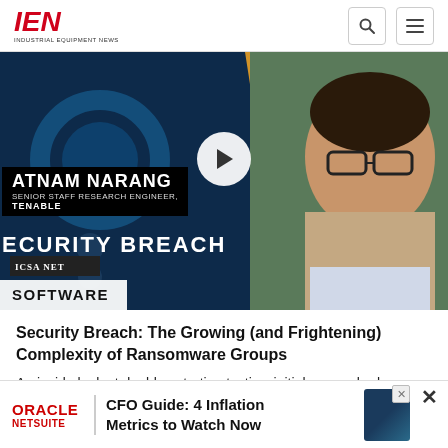IEN INDUSTRIAL EQUIPMENT NEWS
[Figure (screenshot): Video thumbnail showing Satnam Narang, Senior Staff Research Engineer at Tenable, with 'Security Breach' branding and a play button overlay. Left side shows cybersecurity imagery with text 'ATNAM NARANG, SENIOR STAFF RESEARCH ENGINEER, TENABLE' and 'ECURITY BREACH' with ICSA NET logo.]
Security Breach: The Growing (and Frightening) Complexity of Ransomware Groups
An inside look at double extortion tactics, initial access brokers, hacker recruitment, and more.
July 25,
[Figure (screenshot): Advertisement banner for Oracle NetSuite: 'CFO Guide: 4 Inflation Metrics to Watch Now']